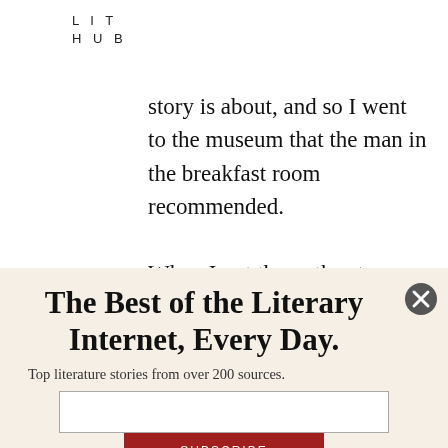LIT
HUB
story is about, and so I went to the museum that the man in the breakfast room recommended.

When I got there, the stern woman at the desk told me my Artforum press pass would not admit me, even
The Best of the Literary Internet, Every Day.
Top literature stories from over 200 sources.